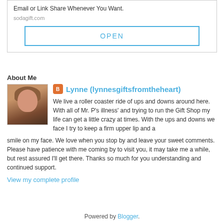[Figure (screenshot): Advertisement box with text about gift delivery, sodagift.com URL, and an OPEN button]
About Me
[Figure (photo): Profile photo of Lynne, a woman with medium-length brown hair]
Lynne (lynnesgiftsfromtheheart)
We live a roller coaster ride of ups and downs around here. With all of Mr. P's illness' and trying to run the Gift Shop my life can get a little crazy at times. With the ups and downs we face I try to keep a firm upper lip and a smile on my face. We love when you stop by and leave your sweet comments. Please have patience with me coming by to visit you, it may take me a while, but rest assured I'll get there. Thanks so much for you understanding and continued support.
View my complete profile
Powered by Blogger.